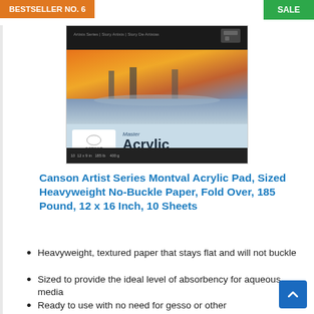BESTSELLER NO. 6
SALE
[Figure (photo): Canson Artist Series Montval Acrylic Pad product image showing a painting of boats/marina on the top half and the Canson Acrylic label on the bottom half with dark header bar]
Canson Artist Series Montval Acrylic Pad, Sized Heavyweight No-Buckle Paper, Fold Over, 185 Pound, 12 x 16 Inch, 10 Sheets
Heavyweight, textured paper that stays flat and will not buckle
Sized to provide the ideal level of absorbency for aqueous media
Ready to use with no need for gesso or other preparation
10 sheets of 185 pound/400 gram
Acid free 12 x 16 inch paper